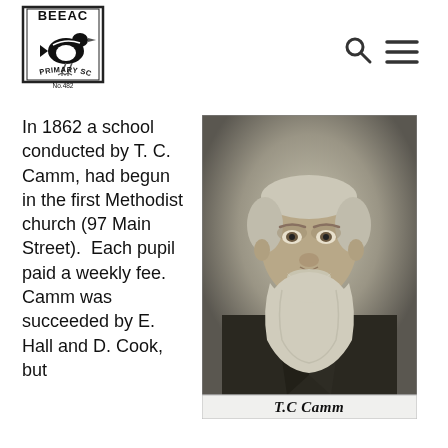BEEAC PRIMARY SCHOOL No.482
In 1862 a school conducted by T. C. Camm, had begun in the first Methodist church (97 Main Street). Each pupil paid a weekly fee. Camm was succeeded by E. Hall and D. Cook, but
[Figure (photo): Black and white portrait photograph of T.C. Camm, an older bearded gentleman in a suit jacket, with caption 'T.C Camm' below]
T.C Camm